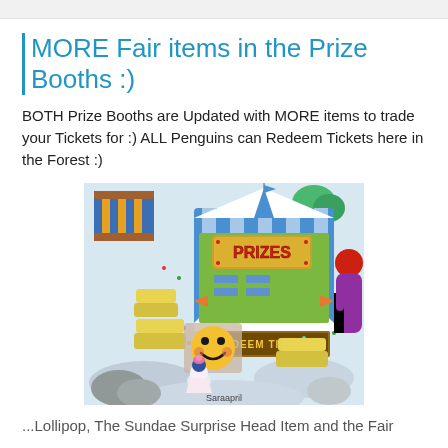MORE Fair items in the Prize Booths :)
BOTH Prize Booths are Updated with MORE items to trade your Tickets for :) ALL Penguins can Redeem Tickets here in the Forest :)
[Figure (screenshot): A Club Penguin game screenshot showing a Prize Booth tent with a 'PRIZES' sign and 'REDEEM TICKETS' banner. A penguin character with a smiley face emoji overlay is visible in front of the booth. The scene includes snow, confetti, and various game elements. Username 'Saraapril' is shown at the bottom.]
...Lollipop, The Sundae Surprise Head Item and the Fair